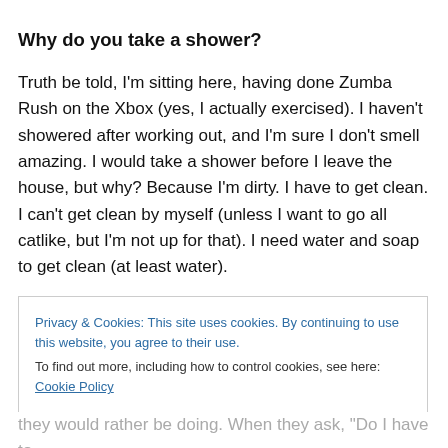Why do you take a shower?
Truth be told, I'm sitting here, having done Zumba Rush on the Xbox (yes, I actually exercised). I haven't showered after working out, and I'm sure I don't smell amazing. I would take a shower before I leave the house, but why? Because I'm dirty. I have to get clean. I can't get clean by myself (unless I want to go all catlike, but I'm not up for that). I need water and soap to get clean (at least water).
Privacy & Cookies: This site uses cookies. By continuing to use this website, you agree to their use.
To find out more, including how to control cookies, see here: Cookie Policy
Close and accept
they would rather be doing. When they ask, "Do I have to